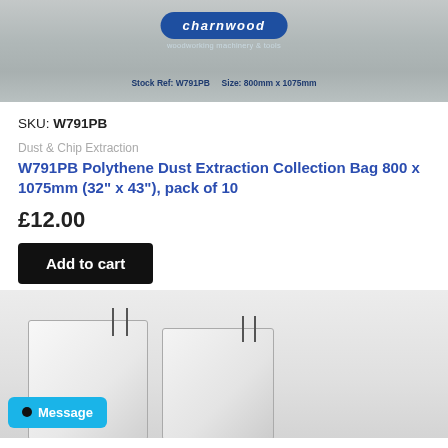[Figure (photo): Photo of a Charnwood branded polythene dust extraction collection bag package, showing the charnwood logo badge in blue oval shape and product text below]
SKU: W791PB
Dust & Chip Extraction
W791PB Polythene Dust Extraction Collection Bag 800 x 1075mm (32" x 43"), pack of 10
£12.00
Add to cart
[Figure (photo): Photo of two white polythene dust extraction collection bags with wire hangers/clips at the top, shown side by side]